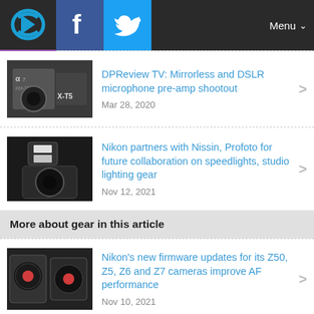DPReview — Menu
DPReview TV: Mirrorless and DSLR microphone pre-amp shootout — Mar 28, 2020
Nikon partners with Nissin, Profoto for future collaboration on speedlights, studio lighting gear — Nov 12, 2021
More about gear in this article
Nikon's new firmware updates for its Z50, Z5, Z6 and Z7 cameras improve AF performance — Nov 10, 2021